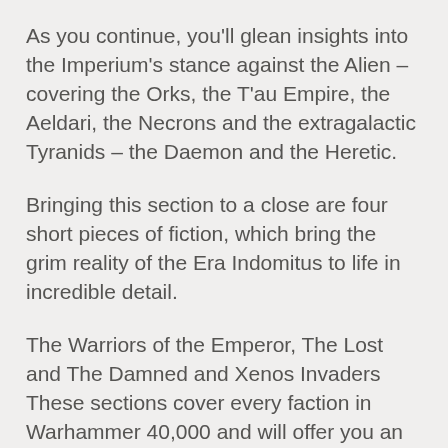As you continue, you'll glean insights into the Imperium's stance against the Alien – covering the Orks, the T'au Empire, the Aeldari, the Necrons and the extragalactic Tyranids – the Daemon and the Heretic.
Bringing this section to a close are four short pieces of fiction, which bring the grim reality of the Era Indomitus to life in incredible detail.
The Warriors of the Emperor, The Lost and The Damned and Xenos Invaders
These sections cover every faction in Warhammer 40,000 and will offer you an in-depth understanding of each one, the threat they pose and their place in the galaxy. There is also a stunning miniatures showcase for each